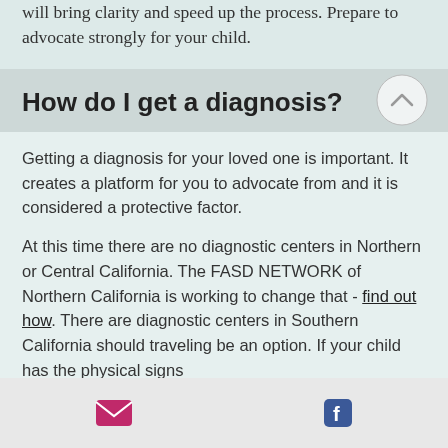will bring clarity and speed up the process. Prepare to advocate strongly for your child.
How do I get a diagnosis?
Getting a diagnosis for your loved one is important.  It creates a platform for you to advocate from and it is considered a protective factor.
At this time there are no diagnostic centers in Northern or Central California. The FASD NETWORK of Northern California is working to change that - find out how. There are diagnostic centers in Southern California should traveling be an option.  If your child has the physical signs
Email icon | Facebook icon